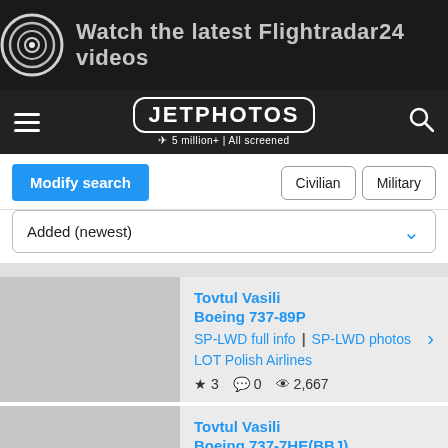[Figure (photo): Ad banner for Flightradar24 videos showing aircraft engine and text 'Watch the latest Flightradar24 videos' with a target/bullseye icon]
JETPHOTOS – 5 million+ | All screened
Modify search | Civilian | Military
Added (newest)
Tovtul Vasili
Boeing 737-89P
SP-LWD full info | SP-LWD photos
LOT Polish Airlines
★ 3  💬 0  👁 2,667
Tovtul Vasili
Boeing 737-7HE(BBJ)
LX-MBJ photos